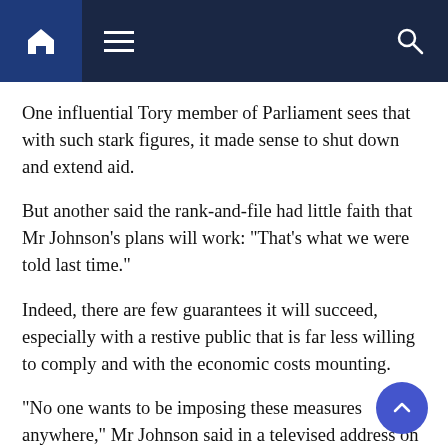[Navigation bar with home, menu, and search icons]
One influential Tory member of Parliament sees that with such stark figures, it made sense to shut down and extend aid.
But another said the rank-and-file had little faith that Mr Johnson’s plans will work: “That’s what we were told last time.”
Indeed, there are few guarantees it will succeed, especially with a restive public that is far less willing to comply and with the economic costs mounting.
“No one wants to be imposing these measures anywhere,” Mr Johnson said in a televised address on Saturday night. “But we’ve got to be humble in the face of nature.”
He cited data suggesting hospitals in parts of England could